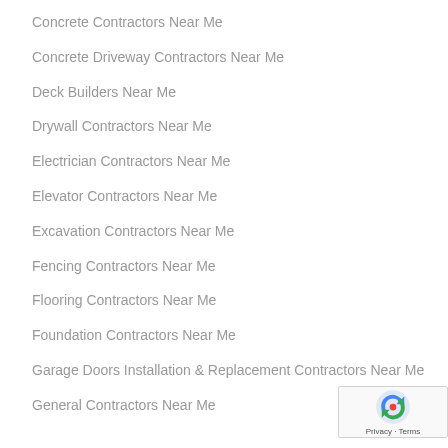Concrete Contractors Near Me
Concrete Driveway Contractors Near Me
Deck Builders Near Me
Drywall Contractors Near Me
Electrician Contractors Near Me
Elevator Contractors Near Me
Excavation Contractors Near Me
Fencing Contractors Near Me
Flooring Contractors Near Me
Foundation Contractors Near Me
Garage Doors Installation & Replacement Contractors Near Me
General Contractors Near Me